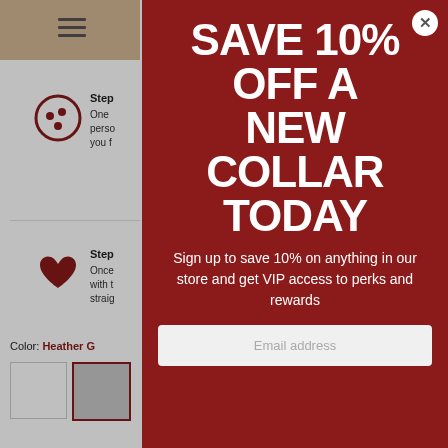[Figure (screenshot): Background page partially visible on the left side showing hamburger menu icon in tan header, step icons with text (cookie/dots icon and heart icon), color label showing 'Heather G' in red, and two color swatches (white and gray/selected with red border)]
[Figure (infographic): Dark red modal popup overlay with close button (X). Contains large bold white text headline 'SAVE 10% OFF A NEW COLLAR TODAY', subtext 'Sign up to save 10% on anything in our store and get VIP access to perks and rewards', and an email address input field at the bottom.]
SAVE 10% OFF A NEW COLLAR TODAY
Sign up to save 10% on anything in our store and get VIP access to perks and rewards
Email address